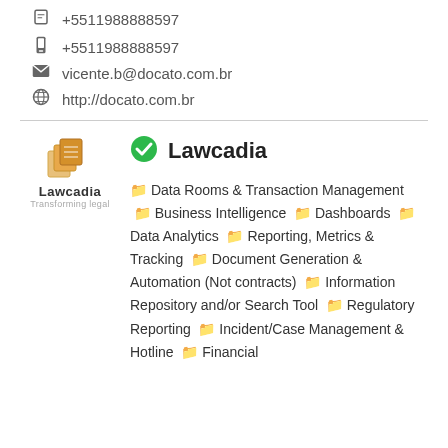+5511988888597 (mobile)
+5511988888597 (fax/office)
vicente.b@docato.com.br
http://docato.com.br
[Figure (logo): Lawcadia logo with orange stacked pages icon and text 'Lawcadia Transforming legal']
Lawcadia
Data Rooms & Transaction Management  Business Intelligence  Dashboards  Data Analytics  Reporting, Metrics & Tracking  Document Generation & Automation (Not contracts)  Information Repository and/or Search Tool  Regulatory Reporting  Incident/Case Management & Hotline  Financial